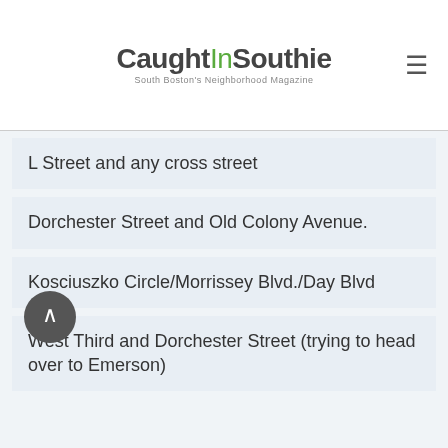CaughtInSouthie — South Boston's Neighborhood Magazine
L Street and any cross street
Dorchester Street and Old Colony Avenue.
Kosciuszko Circle/Morrissey Blvd./Day Blvd
West Third and Dorchester Street (trying to head over to Emerson)